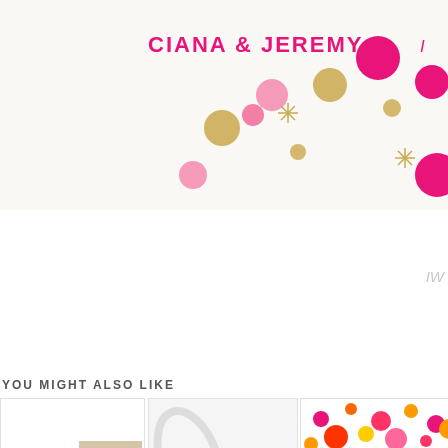[Figure (illustration): Top banner showing 'CIANA & JEREMY' in pink bold text with colorful confetti circles (pink, hot pink, gold) and starburst/asterisk decorations on a cream background. Partial 'IW' text visible on right edge.]
IW
YOU MIGHT ALSO LIKE
[Figure (illustration): Card 1: White card with large gold '2014' numeral, 'CHEERS TO' text above, a wedding photo of a smiling couple (woman in white, man), and small text at bottom.]
[Figure (illustration): Card 2: Light gray/white card with bird and thistle logo, '& ' ampersand, 'FINCHANDTHISTLE EVENT DESIGN' text, decorative leaf/branch patterns in background.]
[Figure (illustration): Card 3: Colorful floral/firework pattern at top in reds, pinks, yellows, oranges. Bottom portion shows 'SAVE THE DATE { WEDNE...' text with ribbon/tag design.]